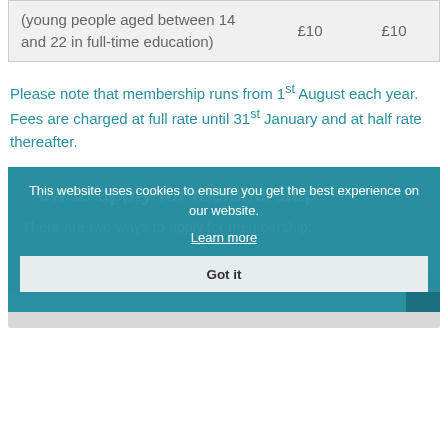| (young people aged between 14 and 22 in full-time education) | £10 | £10 |
Please note that membership runs from 1st August each year. Fees are charged at full rate until 31st January and at half rate thereafter.
How to apply for membership
There are two ways to apply for membership: